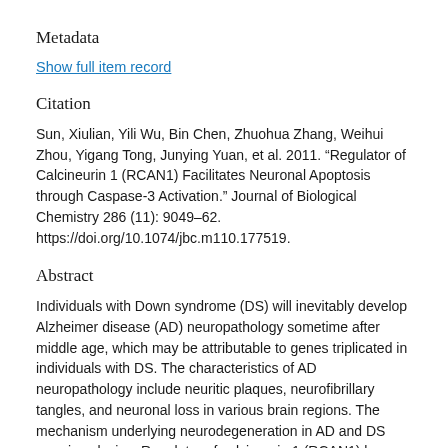Metadata
Show full item record
Citation
Sun, Xiulian, Yili Wu, Bin Chen, Zhuohua Zhang, Weihui Zhou, Yigang Tong, Junying Yuan, et al. 2011. “Regulator of Calcineurin 1 (RCAN1) Facilitates Neuronal Apoptosis through Caspase-3 Activation.” Journal of Biological Chemistry 286 (11): 9049–62. https://doi.org/10.1074/jbc.m110.177519.
Abstract
Individuals with Down syndrome (DS) will inevitably develop Alzheimer disease (AD) neuropathology sometime after middle age, which may be attributable to genes triplicated in individuals with DS. The characteristics of AD neuropathology include neuritic plaques, neurofibrillary tangles, and neuronal loss in various brain regions. The mechanism underlying neurodegeneration in AD and DS remains elusive. Regulator of calcineurin 1 (RCAN1) has been implicated in the pathogenesis of DS. Our data show that RCAN1 expression is elevated in the cortex of DS and AD patients. RCAN1 expression can be activated by the stress hormone dexamethasone. A functional glucocorticoid response element was identified in the RCAN1 isoform 1 (RCAN1-1) promoter region, which is able to mediate the up-